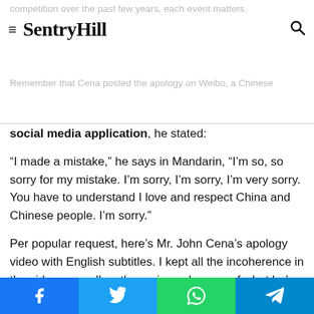SentryHill
social media application, he stated:
“I made a mistake,” he says in Mandarin, “I’m so, so sorry for my mistake. I’m sorry, I’m sorry, I’m very sorry. You have to understand I love and respect China and Chinese people. I’m sorry.”
Per popular request, here’s Mr. John Cena’s apology video with English subtitles. I kept all the incoherence in the video, as well as the curious absence of what he’s actually apologizing for pic.twitter.com/WmJIRcyOID
— Tony Lin 🇨🇳🇨🇳 (@tony_zy) May 25, 2021